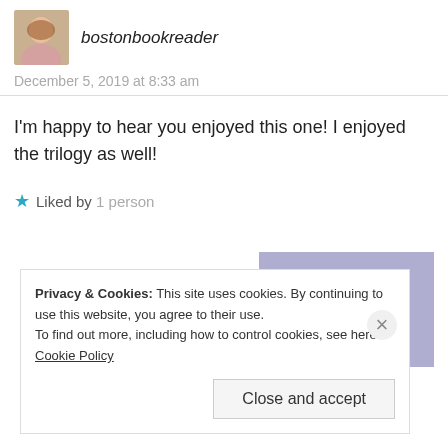bostonbookreader
December 5, 2019 at 8:33 am
I'm happy to hear you enjoyed this one! I enjoyed the trilogy as well!
Liked by 1 person
Reply
Privacy & Cookies: This site uses cookies. By continuing to use this website, you agree to their use.
To find out more, including how to control cookies, see here: Cookie Policy
Close and accept